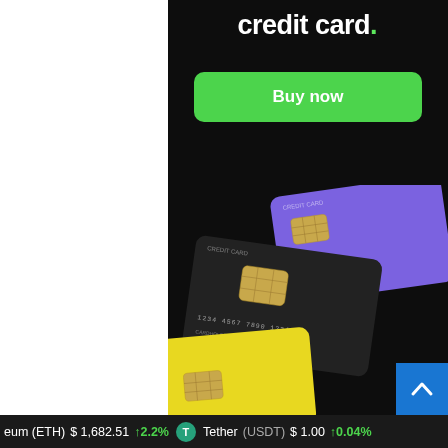credit card.
[Figure (illustration): Green 'Buy now' button on dark background advertisement for credit card service]
[Figure (photo): Three credit cards (purple, dark/black, and yellow) arranged overlapping on dark background]
[Figure (other): Blue scroll-to-top button with upward chevron arrow]
eum (ETH) $1,682.51 ↑2.2% Tether (USDT) $1.00 ↑0.04%